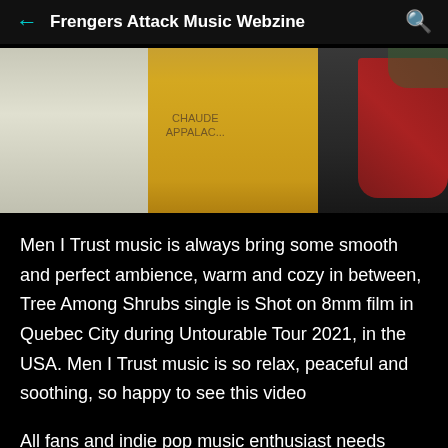Frengers Attack Music Webzine
[Figure (photo): Three band members from Men I Trust / Tree Among Shrubs standing outdoors. Left person in white t-shirt, middle person in yellow t-shirt reading 'CHAUD APPALAC...', right person holding a red electric bass guitar.]
Men I Trust music is always bring some smooth and perfect ambience, warm and cozy in between, Tree Among Shrubs single is Shot on 8mm film in Quebec City during Untourable Tour 2021, in the USA. Men I Trust music is so relax, peaceful and soothing, so happy to see this video
All fans and indie pop music enthusiast needs more like this band, Tree Among Shrubs music video is Processing by Eastman Kodak NY Scan &